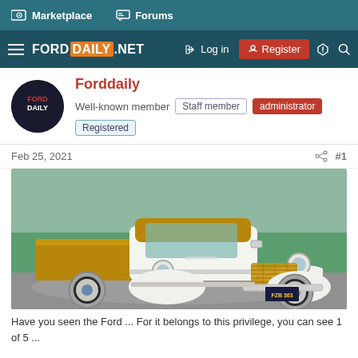Marketplace  Forums
FORD DAILY .NET  Log in  Register
Forddaily
Well-known member  Staff member  administrator  Registered
Feb 25, 2021  #1
[Figure (photo): Classic white and gold/tan vintage Ford pickup truck (late 1930s / early 1940s era) with whitewall tires and chrome grille, parked on pavement with green grass in background. License plate reads FZB 363.]
Have you seen the Ford ... For it belongs to this privilege, you can see 1 of 5 ...